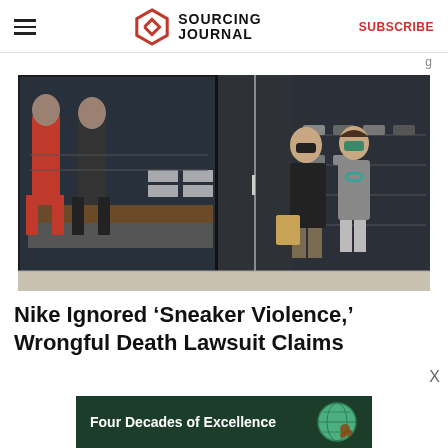SOURCING JOURNAL | SUBSCRIBE
[Figure (photo): Exterior of a sneaker store with dark facade. Mannequins in red and dark athletic wear visible in the left window display with shoes on shelves. Two people wearing face masks exit through the door carrying shopping bags, with more shoe shelves visible in the right window.]
Nike Ignored ‘Sneaker Violence,’ Wrongful Death Lawsuit Claims
[Figure (infographic): Advertisement banner reading 'Four Decades of Excellence' with a green globe graphic on a dark green background.]